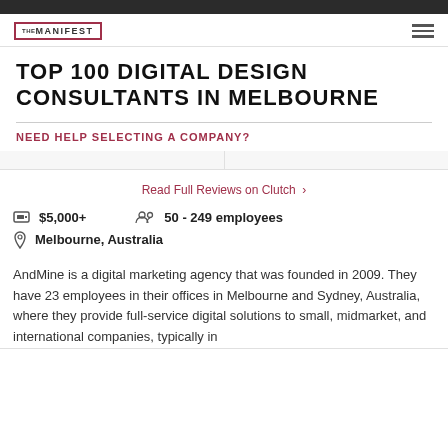THE MANIFEST
TOP 100 DIGITAL DESIGN CONSULTANTS IN MELBOURNE
NEED HELP SELECTING A COMPANY?
Read Full Reviews on Clutch
$5,000+
50 - 249 employees
Melbourne, Australia
AndMine is a digital marketing agency that was founded in 2009. They have 23 employees in their offices in Melbourne and Sydney, Australia, where they provide full-service digital solutions to small, midmarket, and international companies, typically in